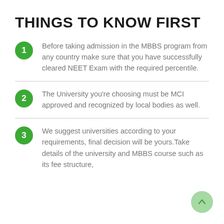THINGS TO KNOW FIRST
Before taking admission in the MBBS program from any country make sure that you have successfully cleared NEET Exam with the required percentile.
The University you're choosing must be MCI approved and recognized by local bodies as well.
We suggest universities according to your requirements, final decision will be yours.Take details of the university and MBBS course such as its fee structure,